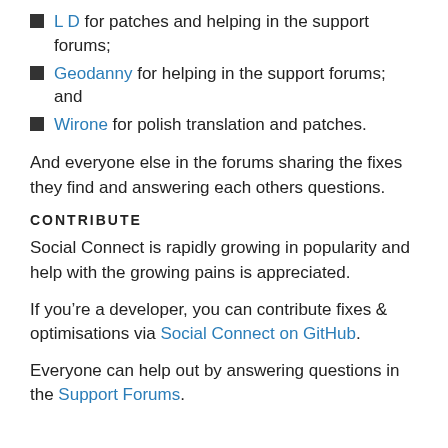L D for patches and helping in the support forums;
Geodanny for helping in the support forums; and
Wirone for polish translation and patches.
And everyone else in the forums sharing the fixes they find and answering each others questions.
CONTRIBUTE
Social Connect is rapidly growing in popularity and help with the growing pains is appreciated.
If you're a developer, you can contribute fixes & optimisations via Social Connect on GitHub.
Everyone can help out by answering questions in the Support Forums.